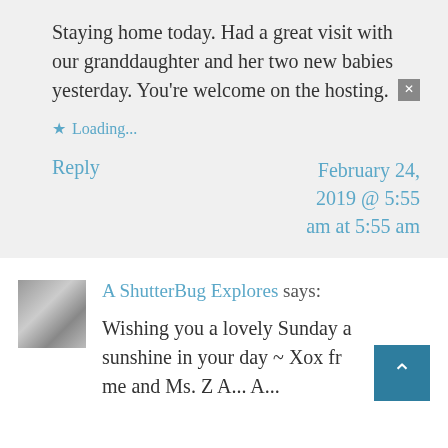Staying home today. Had a great visit with our granddaughter and her two new babies yesterday. You're welcome on the hosting. [x]
★ Loading...
Reply
February 24, 2019 @ 5:55 am at 5:55 am
A ShutterBug Explores says:
Wishing you a lovely Sunday and sunshine in your day ~ Xox from me and Ms. Z A... A...